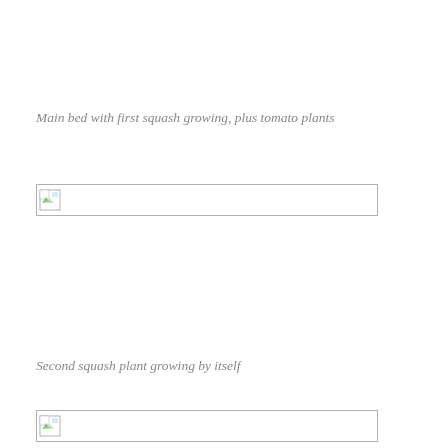Main bed with first squash growing, plus tomato plants
[Figure (photo): Placeholder image for main bed with first squash growing, plus tomato plants]
Second squash plant growing by itself
[Figure (photo): Placeholder image for second squash plant growing by itself]